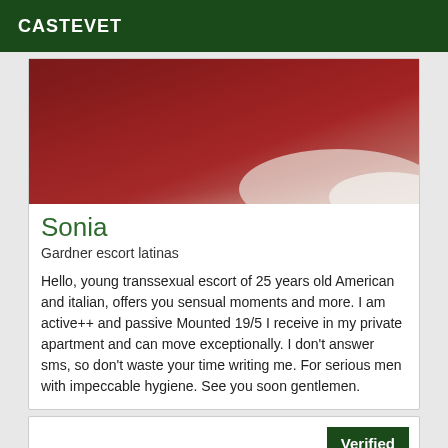CASTEVET
[Figure (photo): Close-up photo with red/maroon tones and white fabric visible in lower right]
Sonia
Gardner escort latinas
Hello, young transsexual escort of 25 years old American and italian, offers you sensual moments and more. I am active++ and passive Mounted 19/5 I receive in my private apartment and can move exceptionally. I don't answer sms, so don't waste your time writing me. For serious men with impeccable hygiene. See you soon gentlemen.
Verified